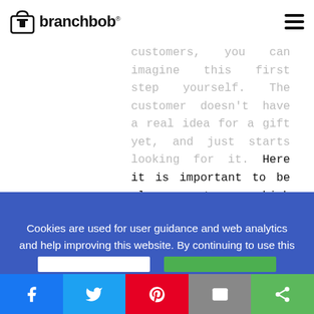branchbob® [logo + hamburger menu]
customers, you can imagine this first step yourself. The customer doesn't have a real idea for a gift yet, and just starts looking for it. Here it is important to be clear to which category of search approaches his products belong and
Cookies are used for user guidance and web analytics and help improving this website. By continuing to use this website, you agree to our Cookie Policy.
[Figure (other): Social share bar with Facebook, Twitter, Pinterest, Email, and Share buttons]